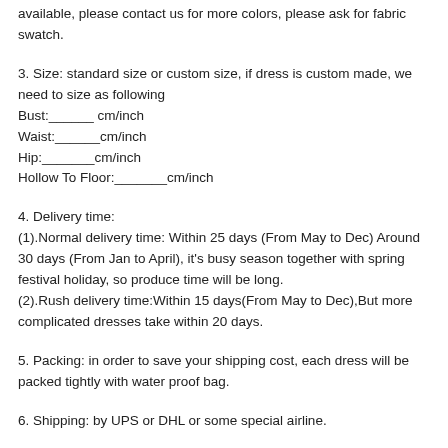available, please contact us for more colors, please ask for fabric swatch.
3. Size: standard size or custom size, if dress is custom made, we need to size as following
Bust:______ cm/inch
Waist:______cm/inch
Hip:_______cm/inch
Hollow To Floor:_______cm/inch
4. Delivery time:
(1).Normal delivery time: Within 25 days (From May to Dec) Around 30 days (From Jan to April), it's busy season together with spring festival holiday, so produce time will be long.
(2).Rush delivery time:Within 15 days(From May to Dec),But more complicated dresses take within 20 days.
5. Packing: in order to save your shipping cost, each dress will be packed tightly with water proof bag.
6. Shipping: by UPS or DHL or some special airline.
7. Payment: Paypal, bank transfer, western union, money gram